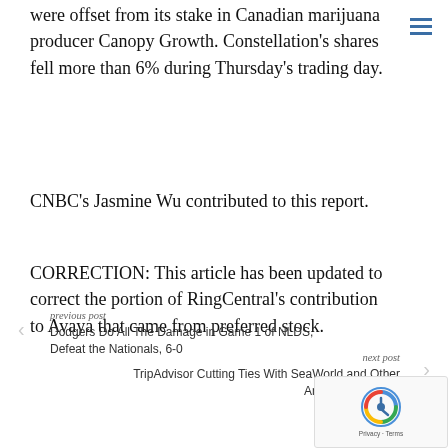were offset from its stake in Canadian marijuana producer Canopy Growth. Constellation's shares fell more than 6% during Thursday's trading day.
CNBC's Jasmine Wu contributed to this report.
CORRECTION: This article has been updated to correct the portion of RingCentral's contribution to Avaya that came from preferred stock.
previous post
Dodgers Do All The Damage in Game 1 of NLDS, Defeat the Nationals, 6-0
next post
TripAdvisor Cutting Ties With SeaWorld and Other Animal Attractions